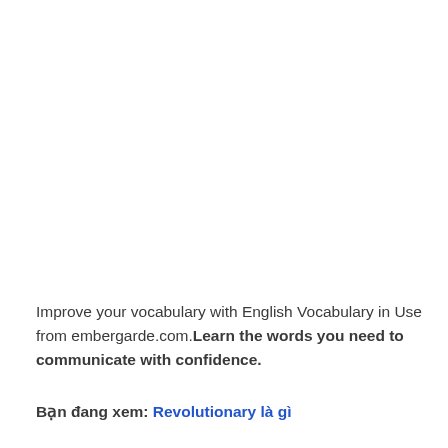Improve your vocabulary with English Vocabulary in Use from embergarde.com.Learn the words you need to communicate with confidence.
Bạn đang xem: Revolutionary là gì